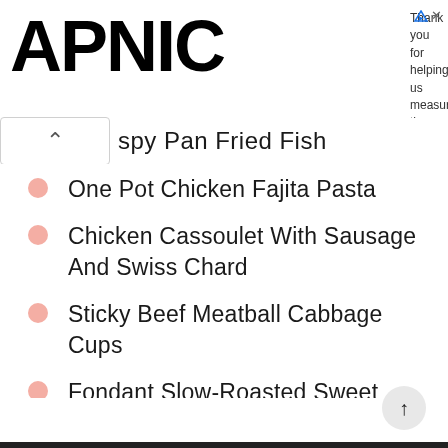APNIC — Thank you for helping us measure the Internet.
Crispy Pan Fried Fish
One Pot Chicken Fajita Pasta
Chicken Cassoulet With Sausage And Swiss Chard
Sticky Beef Meatball Cabbage Cups
Fondant Slow-Roasted Sweet Potatoes
Quick(ish) Asian Ragu
Salami Cream Cheese Roll